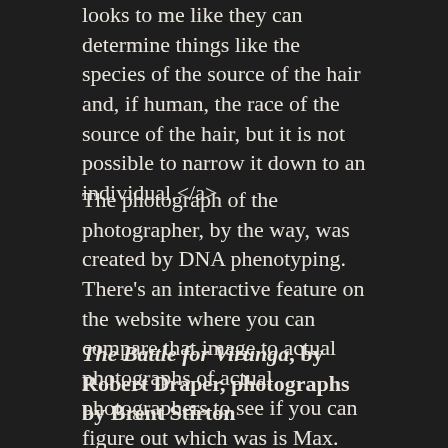looks to me like they can determine things like the species of the source of the hair and, if human, the race of the source of the hair, but it is not possible to narrow it down to an individual.</a>
The photograph of the photographer, by the way, was created by DNA phenotyping. There’s an interactive feature on the website where you can compare that image to actual photographs of actual photographers to see if you can figure out which was is Max.
The Battle for Virunga, by Robert Draper, photographs by Brent Stirton